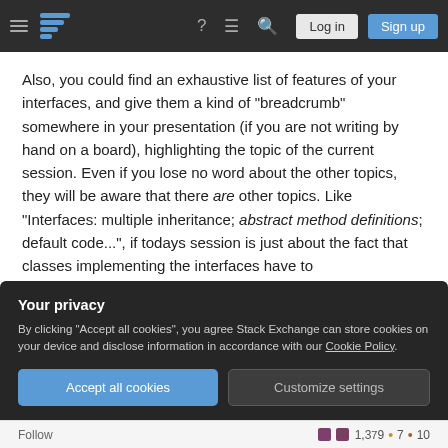Stack Exchange navigation bar with hamburger menu, logo, help icon, chat icon, search icon, Log in button, Sign up button
Also, you could find an exhaustive list of features of your interfaces, and give them a kind of "breadcrumb" somewhere in your presentation (if you are not writing by hand on a board), highlighting the topic of the current session. Even if you lose no word about the other topics, they will be aware that there are other topics. Like "Interfaces: multiple inheritance; abstract method definitions; default code...", if todays session is just about the fact that classes implementing the interfaces have to
Your privacy
By clicking "Accept all cookies", you agree Stack Exchange can store cookies on your device and disclose information in accordance with our Cookie Policy.
Accept all cookies  Customize settings
Follow  1,379 • 7 • 10